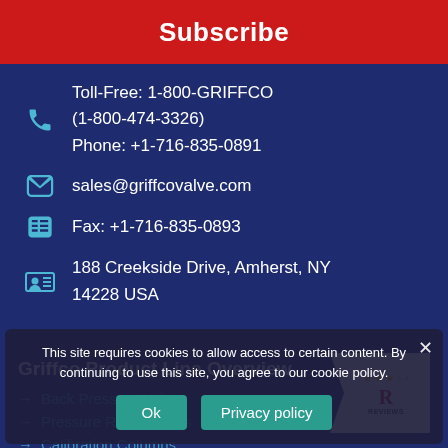Subscribe
Toll-Free: 1-800-GRIFFCO (1-800-474-3326)
Phone: +1-716-835-0891
sales@griffcovalve.com
Fax: +1-716-835-0893
188 Creekside Drive, Amherst, NY 14228 USA
Griffco Product Line Overview
Back Pressure Valves
Pressure Relief Valves
Calibration Columns
This site requires cookies to allow access to certain content. By continuing to use this site, you agree to our cookie policy.